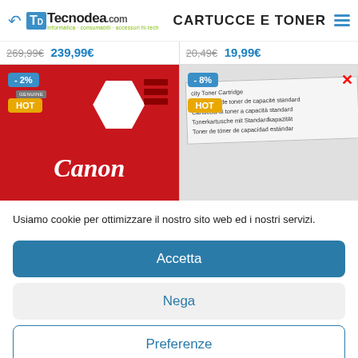Tecnodea.com - CARTUCCE E TONER
269,99€  239,99€   20,49€  19,99€
[Figure (photo): Two product images: left shows a red Canon genuine ink cartridge with -2% and HOT badges; right shows a toner cartridge box with multilingual text, -8% and HOT badges]
Usiamo cookie per ottimizzare il nostro sito web ed i nostri servizi.
Accetta
Nega
Preferenze
POLITICA SULLA PRIVACY